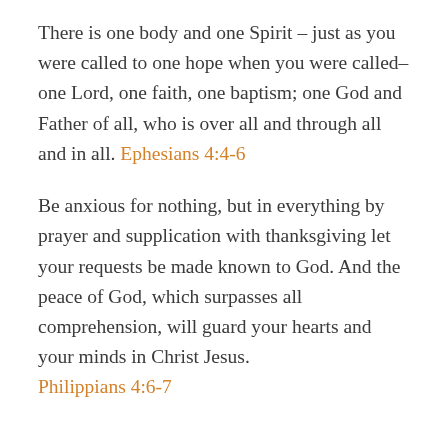There is one body and one Spirit – just as you were called to one hope when you were called–one Lord, one faith, one baptism; one God and Father of all, who is over all and through all and in all. Ephesians 4:4-6
Be anxious for nothing, but in everything by prayer and supplication with thanksgiving let your requests be made known to God. And the peace of God, which surpasses all comprehension, will guard your hearts and your minds in Christ Jesus. Philippians 4:6-7